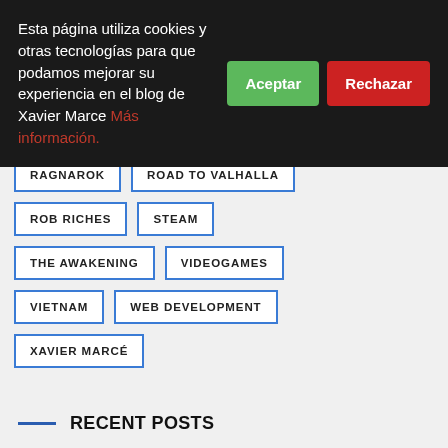Esta página utiliza cookies y otras tecnologías para que podamos mejorar su experiencia en el blog de Xavier Marce Más información.
RAGNAROK
ROAD TO VALHALLA
ROB RICHES
STEAM
THE AWAKENING
VIDEOGAMES
VIETNAM
WEB DEVELOPMENT
XAVIER MARCÉ
RECENT POSTS